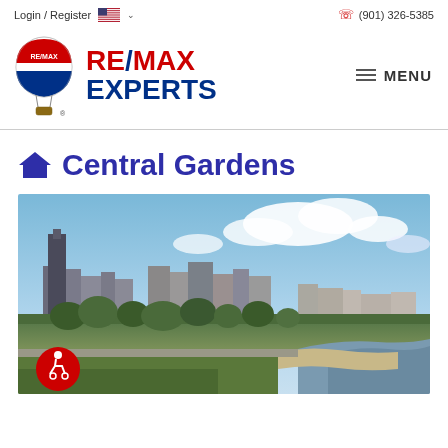Login / Register  (901) 326-5385
[Figure (logo): RE/MAX Experts logo with hot air balloon icon and red/blue RE/MAX Experts text]
Central Gardens
[Figure (photo): Aerial/elevated cityscape photograph of Memphis skyline with downtown buildings, green parkland, and river waterway under partly cloudy blue sky]